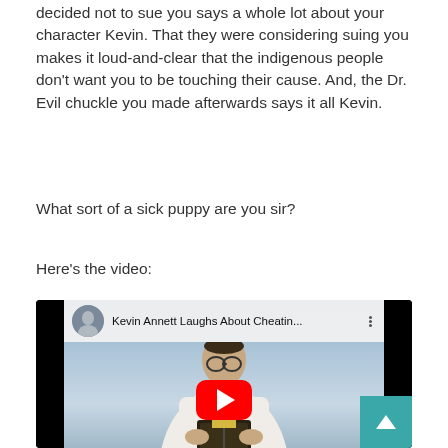decided not to sue you says a whole lot about your character Kevin. That they were considering suing you makes it loud-and-clear that the indigenous people don’t want you to be touching their cause. And, the Dr. Evil chuckle you made afterwards says it all Kevin.
What sort of a sick puppy are you sir?
Here’s the video:
[Figure (screenshot): YouTube video thumbnail showing a man in priest vestments holding a book, with the video title 'Kevin Annett Laughs About Cheatin...' visible in the YouTube player bar at the top. A red YouTube play button is centered on the video. A teal scroll-to-top button is visible in the bottom right corner.]